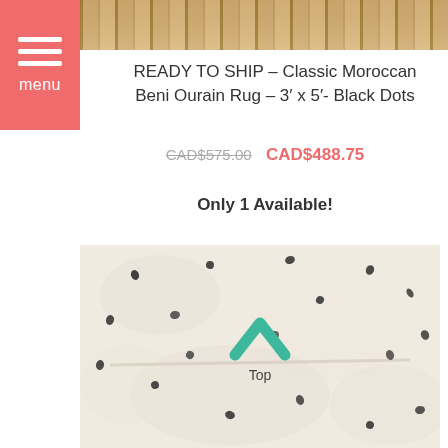[Figure (photo): Top portion of a Moroccan Beni Ourain rug with fringe details, showing woven texture]
[Figure (other): Red/salmon hamburger menu button with three horizontal white lines and 'menu' label below]
READY TO SHIP – Classic Moroccan Beni Ourain Rug – 3' x 5'- Black Dots
CAD$575.00  CAD$488.75
Only 1 Available!
[Figure (photo): Close-up photo of a white/cream fluffy Moroccan Beni Ourain rug with scattered small black dots/diamond shapes and a green chevron arrow pointing up with 'Top' label]